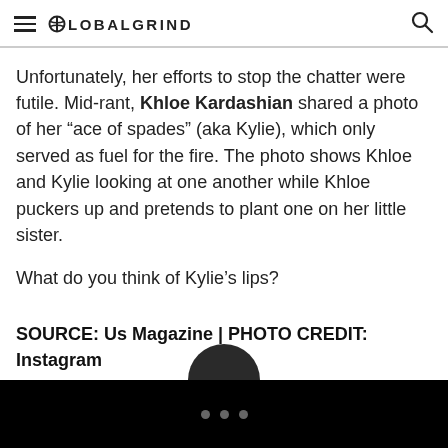GLOBALGRIND
Unfortunately, her efforts to stop the chatter were futile. Mid-rant, Khloe Kardashian shared a photo of her “ace of spades” (aka Kylie), which only served as fuel for the fire. The photo shows Khloe and Kylie looking at one another while Khloe puckers up and pretends to plant one on her little sister.
What do you think of Kylie’s lips?
SOURCE: Us Magazine | PHOTO CREDIT: Instagram